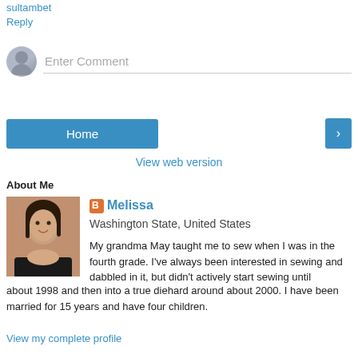sultambet
Reply
Enter Comment
Home
>
View web version
About Me
[Figure (photo): Profile photo of Melissa, a woman with dark hair]
Melissa
Washington State, United States
My grandma May taught me to sew when I was in the fourth grade. I've always been interested in sewing and dabbled in it, but didn't actively start sewing until about 1998 and then into a true diehard around about 2000. I have been married for 15 years and have four children.
View my complete profile